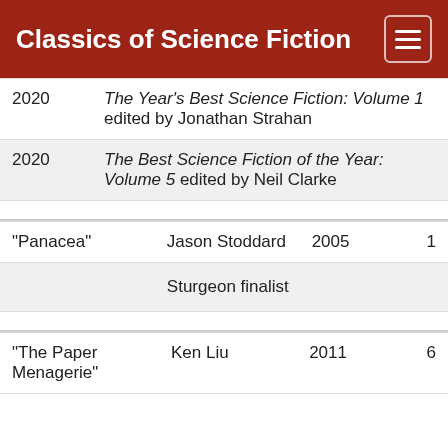Classics of Science Fiction
| Year | Title/Info |
| --- | --- |
| 2020 | The Year's Best Science Fiction: Volume 1 edited by Jonathan Strahan |
| 2020 | The Best Science Fiction of the Year: Volume 5 edited by Neil Clarke |
| Story | Author | Year | Count |
| --- | --- | --- | --- |
| "Panacea" | Jason Stoddard | 2005 | 1 |
|  | Sturgeon finalist |  |  |
| Story | Author | Year | Count |
| --- | --- | --- | --- |
| "The Paper Menagerie" | Ken Liu | 2011 | 6 |